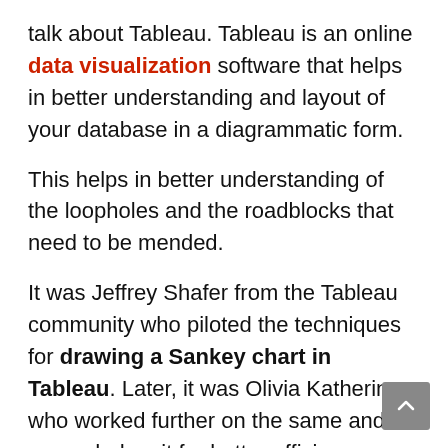talk about Tableau. Tableau is an online data visualization software that helps in better understanding and layout of your database in a diagrammatic form.
This helps in better understanding of the loopholes and the roadblocks that need to be mended.
It was Jeffrey Shafer from the Tableau community who piloted the techniques for drawing a Sankey chart in Tableau. Later, it was Olivia Katherine who worked further on the same and expanded on it for better efficiency. Even Chris Love further perfected